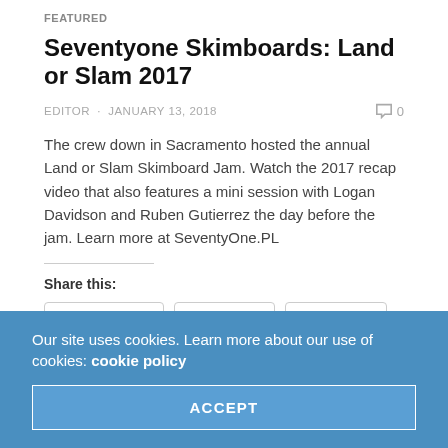FEATURED
Seventyone Skimboards: Land or Slam 2017
EDITOR · JANUARY 13, 2018   💬 0
The crew down in Sacramento hosted the annual Land or Slam Skimboard Jam. Watch the 2017 recap video that also features a mini session with Logan Davidson and Ruben Gutierrez the day before the jam. Learn more at SeventyOne.PL
Share this:
Facebook  Twitter  Tumblr
Like this:
Like
Be the first to like this.
Our site uses cookies. Learn more about our use of cookies: cookie policy
ACCEPT